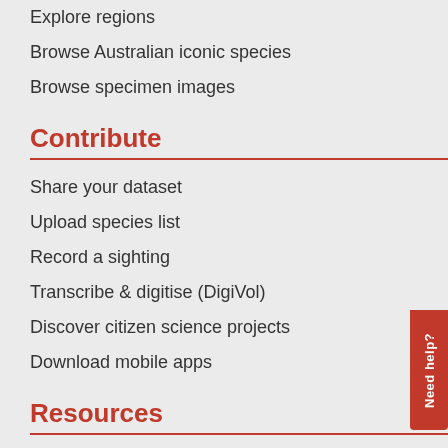Explore regions
Browse Australian iconic species
Browse specimen images
Contribute
Share your dataset
Upload species list
Record a sighting
Transcribe & digitise (DigiVol)
Discover citizen science projects
Download mobile apps
Resources
Brochures and reports
ALA logo and identity
ALA-cited publications
Education resources